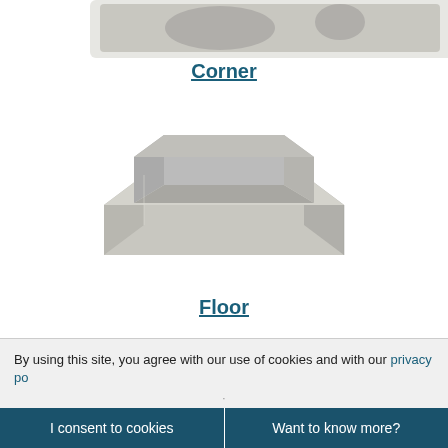[Figure (photo): Stainless steel corner sink product photo (partially visible at top)]
Corner
[Figure (photo): Stainless steel floor sink / mop sink product photo, rectangular shaped with deep basin and thick walls]
Floor
By using this site, you agree with our use of cookies and with our privacy po...
I consent to cookies
Want to know more?